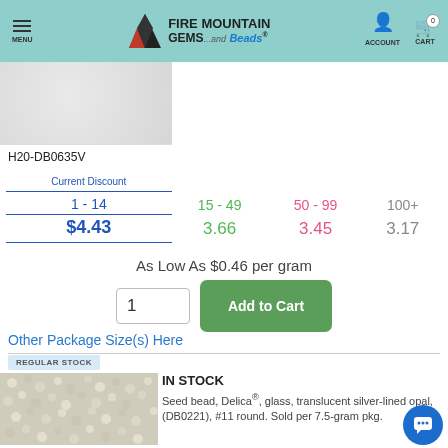FIRE MOUNTAIN GEMS and Beads | MENU | ACCOUNT | CART 0
[Figure (photo): Product photo showing beads with silver/opal appearance on light background]
H20-DB0635V
| Current Discount | 15 - 49 | 50 - 99 | 100+ |
| --- | --- | --- | --- |
| 1 - 14 | 15 - 49 | 50 - 99 | 100+ |
| $4.43 | 3.66 | 3.45 | 3.17 |
As Low As $0.46 per gram
1
Add to Cart
Other Package Size(s) Here
REGULAR STOCK
[Figure (photo): Close-up photo of seed beads - translucent silver-lined opal Delica beads]
IN STOCK
Seed bead, Delica®, glass, translucent silver-lined opal, (DB0221), #11 round. Sold per 7.5-gram pkg.